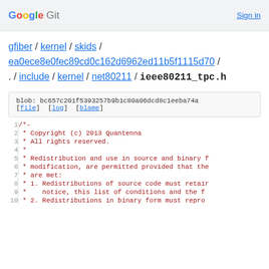Google Git  Sign in
gfiber / kernel / skids / ea0ece8e0fec89cd0c162d6962ed11b5f1115d70 / . / include / kernel / net80211 / ieee80211_tpc.h
blob: bc657c201f5393257b9b1c80a06dcd8c1eeba74a [file] [log] [blame]
1  /*-
2   * Copyright (c) 2013 Quantenna
3   * All rights reserved.
4   *
5   * Redistribution and use in source and binary f
6   * modification, are permitted provided that the
7   * are met:
8   * 1. Redistributions of source code must retain
9   *    notice, this list of conditions and the f
10  * 2. Redistributions in binary form must repro